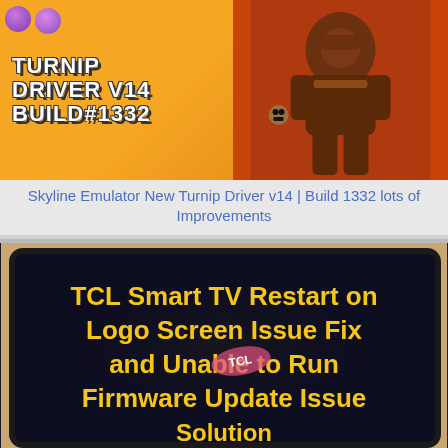[Figure (screenshot): Promotional thumbnail for Skyline Emulator Turnip Driver v14 Build #1332 — yellow/orange background with bold white text on the left and an armored fantasy character on the right. Small app icon circles visible in upper left.]
Skyline Emulator New Turnip Driver v14 | Build 1332 lots of Improvements
[Figure (screenshot): Dark TV screen showing yellow glowing text: 'TCL Smart TV Restart on Logo Screen Issue Fix and Unable to Run Firmware Update Issue Solution'. A beige/tan wall and TV bezel visible in background.]
TCL Smart TV Restart on Logo Screen Issue Fix and